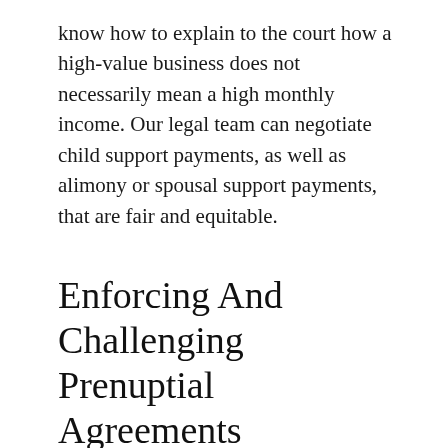know how to explain to the court how a high-value business does not necessarily mean a high monthly income. Our legal team can negotiate child support payments, as well as alimony or spousal support payments, that are fair and equitable.
Enforcing And Challenging Prenuptial Agreements
When properly executed, it is very difficult to challenge the stipulations of a prenuptial agreement. However, if both spouses did not have separate legal representation review the agreement when it was created, you may be able